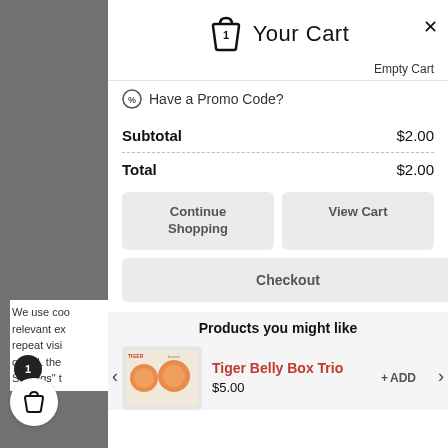Your Cart
Empty Cart
Have a Promo Code?
Subtotal $2.00
Total $2.00
Continue Shopping
View Cart
Checkout
Products you might like
Tiger Belly Box Trio
$5.00
+ ADD
We use coo relevant ex repeat visi of ALL the Settings" t